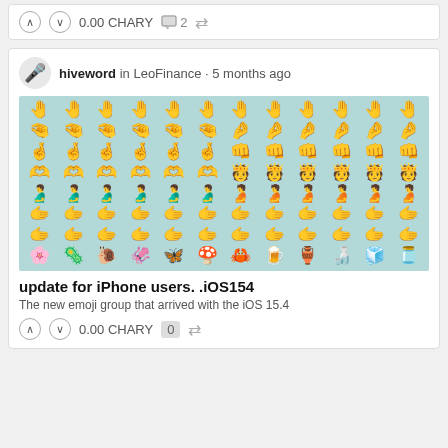D.Buzz
0.00 CHARY  2  [share]
hiveword in LeoFinance · 5 months ago
[Figure (illustration): Grid of emoji icons on a light blue/teal background showing various hand gestures, people, and handshake emojis in different skin tones from the iOS 15.4 update]
update for iPhone users. .iOS154
The new emoji group that arrived with the iOS 15.4
0.00 CHARY  0  [share]